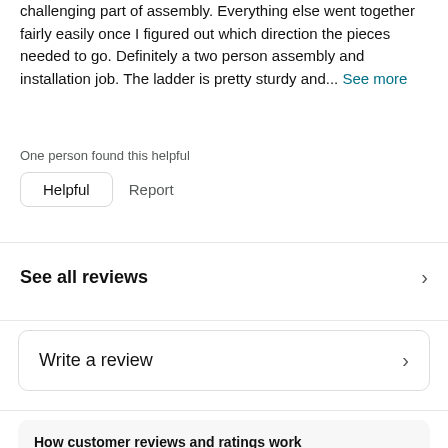challenging part of assembly. Everything else went together fairly easily once I figured out which direction the pieces needed to go. Definitely a two person assembly and installation job. The ladder is pretty sturdy and... See more
One person found this helpful
Helpful  Report
See all reviews
Write a review
How customer reviews and ratings work
Customer Reviews, including Product Star Ratings help customers to learn more about the product and decide whether it is the right product for them. Learn more how customers reviews work on Amazon